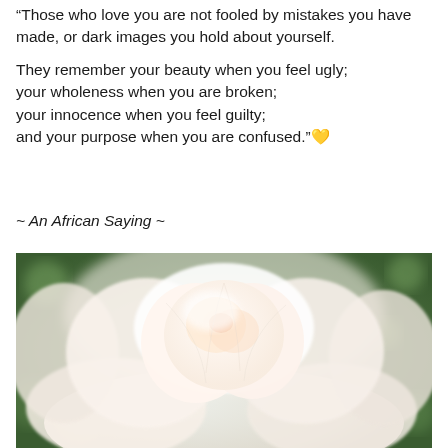“Those who love you are not fooled by mistakes you have made, or dark images you hold about yourself.

They remember your beauty when you feel ugly;
your wholeness when you are broken;
your innocence when you feel guilty;
and your purpose when you are confused.”💛
~ An African Saying ~
[Figure (photo): Close-up photograph of a white/cream rose in full bloom, with soft bokeh green background. The rose petals are layered and delicate, lit with bright natural light.]